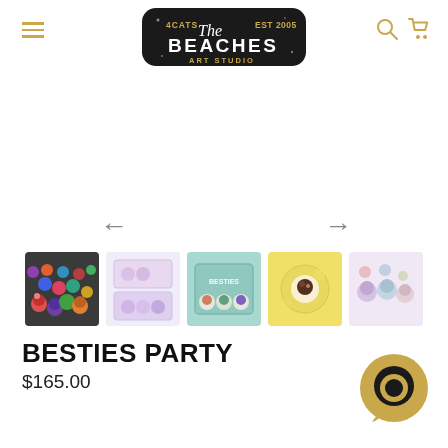[Figure (logo): 4Cats The Beaches Art Studio logo — black rounded rectangle with white text]
[Figure (photo): Five product thumbnail photos showing small decorative clay animal figures in various arrangements and backgrounds]
BESTIES PARTY
$165.00